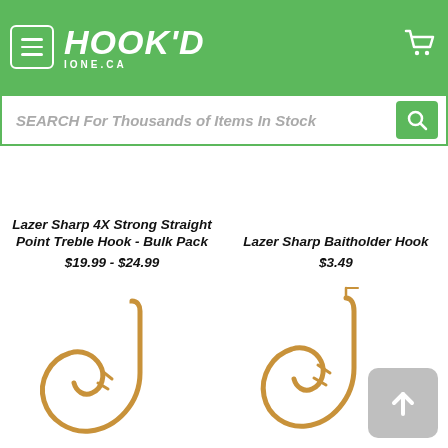HOOK'D IONE.CA
SEARCH For Thousands of Items In Stock
Lazer Sharp 4X Strong Straight Point Treble Hook - Bulk Pack
$19.99 - $24.99
Lazer Sharp Baitholder Hook
$3.49
[Figure (photo): Fishing hook image - single baitholder hook, gold/bronze color]
[Figure (photo): Fishing hook image - baitholder hook with barbs, gold/bronze color, with scroll-to-top button overlay]